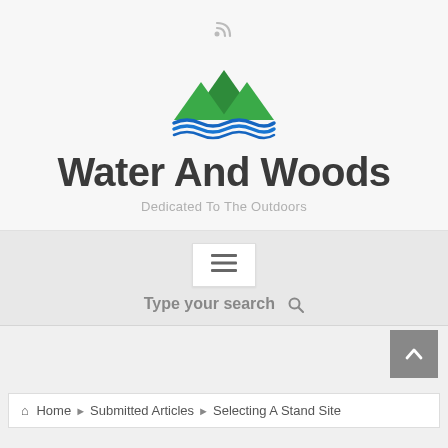[Figure (logo): Water And Woods website logo with green mountain peaks and blue wavy water lines]
Water And Woods
Dedicated To The Outdoors
[Figure (screenshot): Navigation area with hamburger menu button and search bar reading 'Type your search']
Type your search
Home ▶ Submitted Articles ▶ Selecting A Stand Site